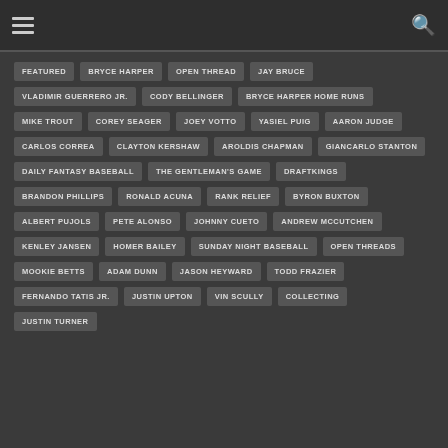Navigation bar with hamburger menu and search icon
FEATURED
BRYCE HARPER
OPEN THREAD
JAY BRUCE
VLADIMIR GUERRERO JR.
CODY BELLINGER
BRYCE HARPER HOME RUNS
MIKE TROUT
COREY SEAGER
JOEY VOTTO
YASIEL PUIG
AARON JUDGE
CARLOS CORREA
CLAYTON KERSHAW
AROLDIS CHAPMAN
GIANCARLO STANTON
DAILY FANTASY BASEBALL
THE GENTLEMAN'S GAME
DRAFTKINGS
BRANDON PHILLIPS
RONALD ACUNA
RANK RELIEF
BYRON BUXTON
ALBERT PUJOLS
PETE ALONSO
JOHNNY CUETO
ANDREW MCCUTCHEN
KENLEY JANSEN
HOMER BAILEY
SUNDAY NIGHT BASEBALL
OPEN THREADS
MOOKIE BETTS
ADAM DUNN
JASON HEYWARD
TODD FRAZIER
FERNANDO TATIS JR.
JUSTIN UPTON
VIN SCULLY
COLLECTING
JUSTIN TURNER